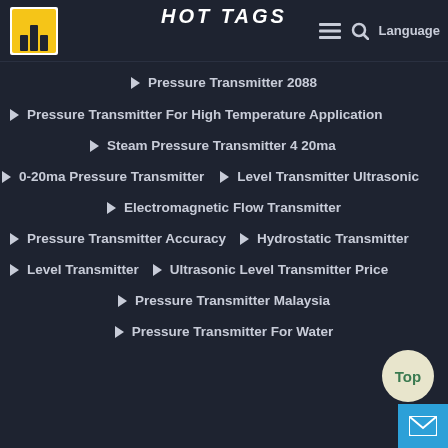HOT TAGS
Pressure Transmitter 2088
Pressure Transmitter For High Temperature Application
Steam Pressure Transmitter 4 20ma
0-20ma Pressure Transmitter | Level Transmitter Ultrasonic
Electromagnetic Flow Transmitter
Pressure Transmitter Accuracy | Hydrostatic Transmitter
Level Transmitter | Ultrasonic Level Transmitter Price
Pressure Transmitter Malaysia
Pressure Transmitter For Water